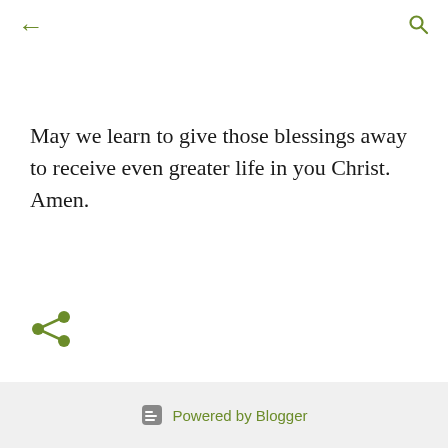← [back arrow] [search icon]
May we learn to give those blessings away to receive even greater life in you Christ. Amen.
[Figure (illustration): Share icon (three circles connected by lines, olive/green color)]
Enter Comment
Powered by Blogger